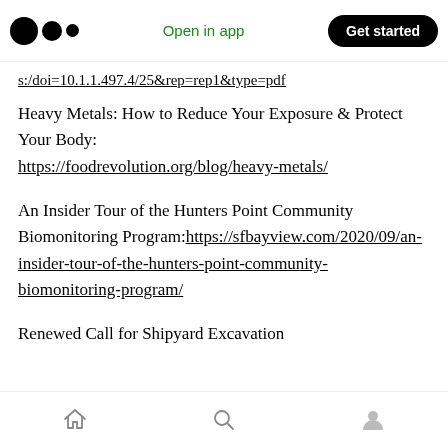Medium logo | Open in app | Get started
s:/doi=10.1.1.497.4/25&rep=rep1&type=pdf
Heavy Metals: How to Reduce Your Exposure & Protect Your Body:
https://foodrevolution.org/blog/heavy-metals/
An Insider Tour of the Hunters Point Community Biomonitoring Program:https://sfbayview.com/2020/09/an-insider-tour-of-the-hunters-point-community-biomonitoring-program/
Renewed Call for Shipyard Excavation
Home | Search | Profile